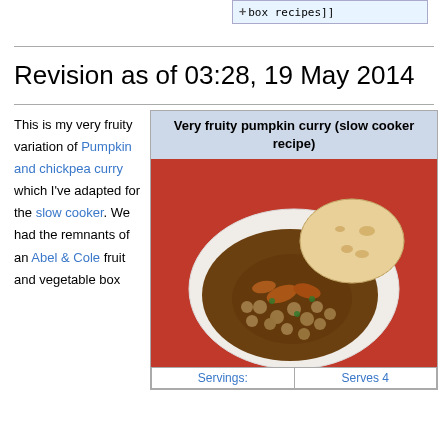box recipes]]
Revision as of 03:28, 19 May 2014
This is my very fruity variation of Pumpkin and chickpea curry which I've adapted for the slow cooker. We had the remnants of an Abel & Cole fruit and vegetable box
[Figure (photo): A white plate of pumpkin and chickpea curry with carrots and a flatbread on an orange/red tablecloth]
| Servings: | Serves 4 |
| --- | --- |